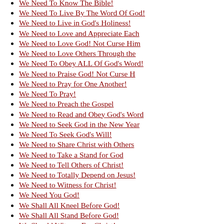We Need To Know The Bible!
We Need To Live By The Word Of God!
We Need to Live in God's Holiness!
We Need to Love and Appreciate Each
We Need to Love God! Not Curse Him
We Need to Love Others Through the
We Need To Obey ALL Of God's Word!
We Need to Praise God! Not Curse H
We Need to Pray for One Another!
We Need To Pray!
We Need to Preach the Gospel
We Need to Read and Obey God's Word
We Need to Seek God in the New Year
We Need To Seek God's Will!
We Need to Share Christ with Others
We Need to Take a Stand for God
We Need to Tell Others of Christ!
We Need to Totally Depend on Jesus!
We Need to Witness for Christ!
We Need You God!
We Shall All Kneel Before God!
We Shall All Stand Before God!
We Should Witness For Christ!
We Tried Our Best to Raise Our Kids
We Welcome You
We Went to Grandma's House!
We Won't Make Heaven, If We Don't F
We Wrestle Not against Flesh and Bl
We'll Answer to God for All We Do!
We'll Miss You Richard!